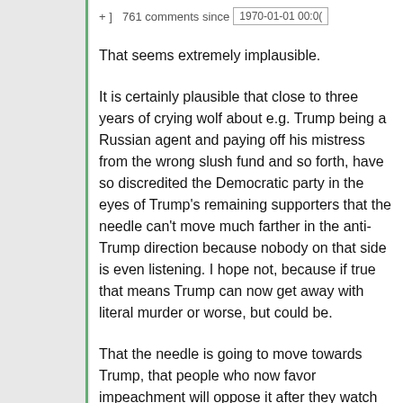+ ]   761 comments since   1970-01-01 00:0(
That seems extremely implausible.
It is certainly plausible that close to three years of crying wolf about e.g. Trump being a Russian agent and paying off his mistress from the wrong slush fund and so forth, have so discredited the Democratic party in the eyes of Trump's remaining supporters that the needle can't move much farther in the anti-Trump direction because nobody on that side is even listening. I hope not, because if true that means Trump can now get away with literal murder or worse, but could be.
That the needle is going to move towards Trump, that people who now favor impeachment will oppose it after they watch the hearings on CSPAN (or see the commentary on Twitter) is unlikely. This time, the Democrats have stuck with a single coherent na